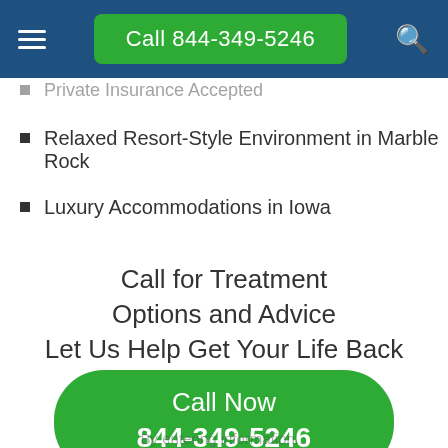Call 844-349-5246
Private Insurance Accepted
Relaxed Resort-Style Environment in Marble Rock
Luxury Accommodations in Iowa
Call for Treatment Options and Advice Let Us Help Get Your Life Back
Call Now 844-349-5246
By entering information...